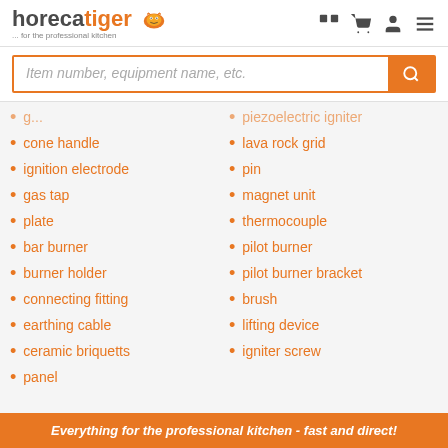horecatiger ... for the professional kitchen
Item number, equipment name, etc.
grill (truncated)
cone handle
ignition electrode
gas tap
plate
bar burner
burner holder
connecting fitting
earthing cable
ceramic briquetts
panel
piezoelectric igniter (truncated)
lava rock grid
pin
magnet unit
thermocouple
pilot burner
pilot burner bracket
brush
lifting device
igniter screw
Everything for the professional kitchen - fast and direct!